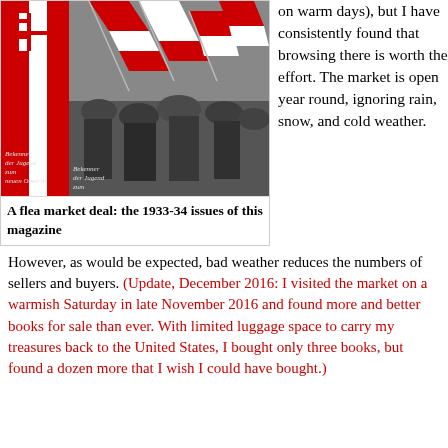[Figure (photo): A magazine cover showing red and white flags and crowds, with German text 'Bekenner der Jugend zum neuen Oesterreich' and a white cross-in-square symbol on a red background stripe.]
A flea market deal: the 1933-34 issues of this magazine
on warm days), but I have consistently found that browsing there is worth the effort. The market is open year round, ignoring rain, snow, and cold weather.
However, as would be expected, bad weather reduces the numbers of sellers and buyers. (Update, December 2016: I visited the market on a warmish Saturday in late November 2016 and found more and better books for sale than ever. With limited luggage space to carry my treasures back to the United States, I bought only three books, but found a dozen more that I wish I could have bought.)